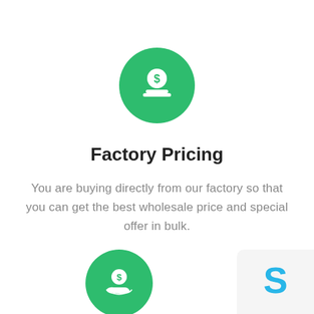[Figure (illustration): Green circle icon with a dollar coin being inserted into a slot/hand, representing factory pricing]
Factory Pricing
You are buying directly from our factory so that you can get the best wholesale price and special offer in bulk.
[Figure (illustration): Green circle icon with a dollar coin on an open hand, representing payment/pricing]
[Figure (illustration): Partial view of a card with a blue S letter, partially visible at bottom right corner]